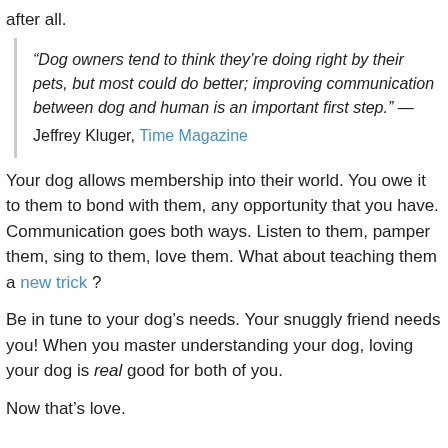after all.
“Dog owners tend to think they’re doing right by their pets, but most could do better; improving communication between dog and human is an important first step.” — Jeffrey Kluger, Time Magazine
Your dog allows membership into their world. You owe it to them to bond with them, any opportunity that you have. Communication goes both ways. Listen to them, pamper them, sing to them, love them. What about teaching them a new trick ?
Be in tune to your dog’s needs. Your snuggly friend needs you! When you master understanding your dog, loving your dog is real good for both of you.
Now that’s love.
Be Good To Yourself, Love Your